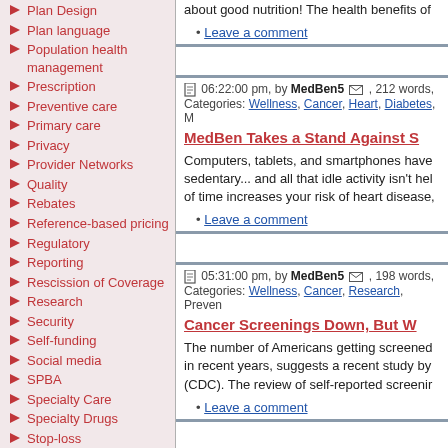Plan Design
Plan language
Population health management
Prescription
Preventive care
Primary care
Privacy
Provider Networks
Quality
Rebates
Reference-based pricing
Regulatory
Reporting
Rescission of Coverage
Research
Security
Self-funding
Social media
SPBA
Specialty Care
Specialty Drugs
Stop-loss
Stroke
Taxes
Third party administration
Transparency
Trend
about good nutrition! The health benefits of
• Leave a comment
06:22:00 pm, by MedBen5 , 212 words, Categories: Wellness, Cancer, Heart, Diabetes, M
MedBen Takes a Stand Against S
Computers, tablets, and smartphones have sedentary... and all that idle activity isn't hel of time increases your risk of heart disease,
• Leave a comment
05:31:00 pm, by MedBen5 , 198 words, Categories: Wellness, Cancer, Research, Preven
Cancer Screenings Down, But W
The number of Americans getting screened in recent years, suggests a recent study by (CDC). The review of self-reported screenir
• Leave a comment
07:26:00 pm, by MedBen5 , 315 words,